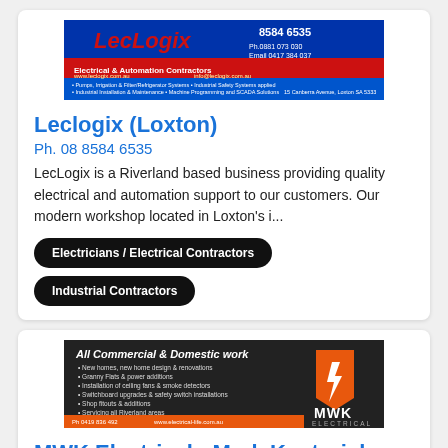[Figure (photo): LecLogix advertisement banner showing company logo, phone numbers, and services list for electrical and automation contractors in Loxton]
Leclogix (Loxton)
Ph. 08 8584 6535
LecLogix is a Riverland based business providing quality electrical and automation support to our customers. Our modern workshop located in Loxton's i...
Electricians / Electrical Contractors
Industrial Contractors
[Figure (photo): MWK Electrical advertisement banner showing 'All Commercial & Domestic work' with list of services and MWK Electrical logo with shield icon]
MWK Electrical - Mark Kosturjak (Berri)
Ph. 0419 836 492
MWK Electrical are based in Berri but service all Riverland areas. ♦ New homes, new home design, renovations and additions ♦ Switchboard upgrades &a...